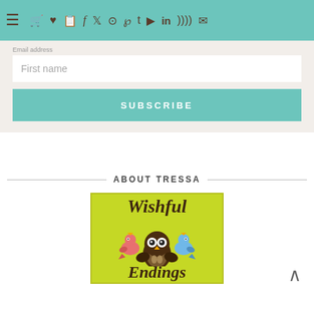Navigation bar with hamburger menu and social/action icons
First name
SUBSCRIBE
ABOUT TRESSA
[Figure (logo): Wishful Endings logo on lime green background with owl and two birds illustration]